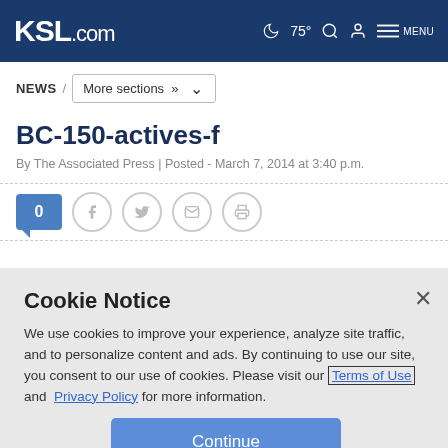KSL.com 75° MENU
NEWS / More sections »
BC-150-actives-f
By The Associated Press | Posted - March 7, 2014 at 3:40 p.m.
0
Cookie Notice
We use cookies to improve your experience, analyze site traffic, and to personalize content and ads. By continuing to use our site, you consent to our use of cookies. Please visit our Terms of Use and Privacy Policy for more information.
Continue